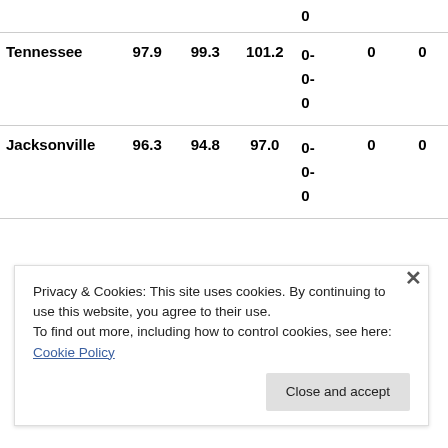| Team | Col1 | Col2 | Col3 | Record | Col5 | Col6 |
| --- | --- | --- | --- | --- | --- | --- |
|  |  |  |  | 0 |  |  |
| Tennessee | 97.9 | 99.3 | 101.2 | 0-
0-
0 | 0 | 0 |
| Jacksonville | 96.3 | 94.8 | 97.0 | 0-
0-
0 | 0 | 0 |
Privacy & Cookies: This site uses cookies. By continuing to use this website, you agree to their use.
To find out more, including how to control cookies, see here: Cookie Policy